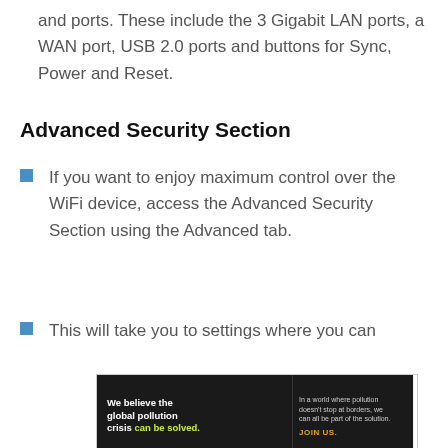and ports. These include the 3 Gigabit LAN ports, a WAN port, USB 2.0 ports and buttons for Sync, Power and Reset.
Advanced Security Section
If you want to enjoy maximum control over the WiFi device, access the Advanced Security Section using the Advanced tab.
This will take you to settings where you can
[Figure (infographic): Advertisement banner for Pure Earth organization showing text: We believe the global pollution crisis can be solved. In a world where pollution doesn't stop at borders, we can all be part of the solution. JOIN US. PURE EARTH logo.]